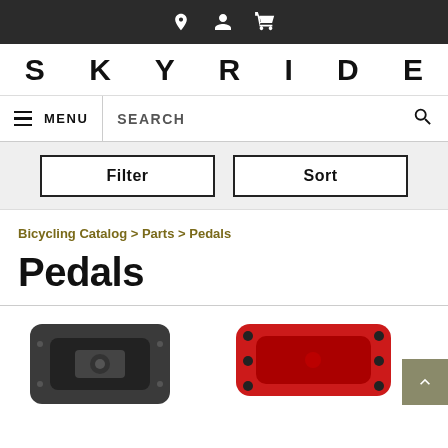SKYRIDE — navigation header with location, account, and cart icons
SKYRIDE
MENU  SEARCH
Filter  Sort
Bicycling Catalog > Parts > Pedals
Pedals
[Figure (photo): Two bicycle pedals shown at bottom: a black platform pedal on the left and a red platform pedal on the right]